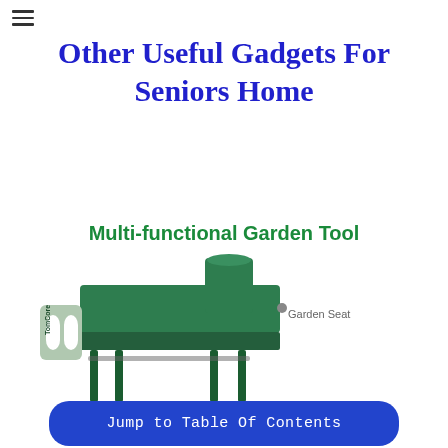Other Useful Gadgets For Seniors Home
Multi-functional Garden Tool
[Figure (photo): A green TomCare multi-functional garden kneeler bench/seat tool with side pouches, shown as a seat configuration. Label 'Garden Seat' appears to the right.]
Jump to Table Of Contents